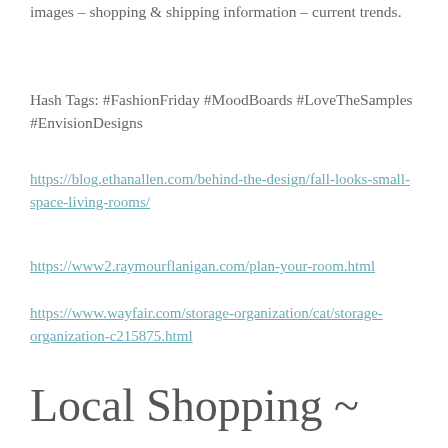images – shopping & shipping information – current trends.
Hash Tags: #FashionFriday #MoodBoards #LoveTheSamples #EnvisionDesigns
https://blog.ethanallen.com/behind-the-design/fall-looks-small-space-living-rooms/
https://www2.raymourflanigan.com/plan-your-room.html
https://www.wayfair.com/storage-organization/cat/storage-organization-c215875.html
Local Shopping ~